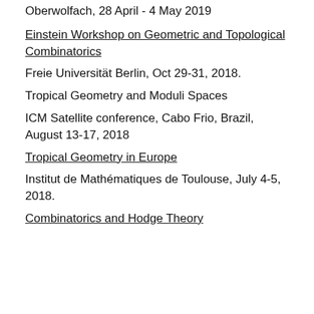Oberwolfach, 28 April - 4 May 2019
Einstein Workshop on Geometric and Topological Combinatorics
Freie Universität Berlin, Oct 29-31, 2018.
Tropical Geometry and Moduli Spaces
ICM Satellite conference, Cabo Frio, Brazil, August 13-17, 2018
Tropical Geometry in Europe
Institut de Mathématiques de Toulouse, July 4-5, 2018.
Combinatorics and Hodge Theory